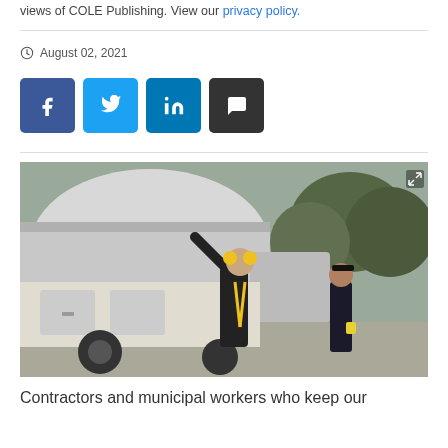views of COLE Publishing. View our privacy policy.
August 02, 2021
[Figure (photo): Two workers in dark clothing beside a large vacuum truck. The foreground worker wears yellow ear protection and a yellow harness, reaching up toward the truck. Another worker stands in the background wearing gloves.]
Contractors and municipal workers who keep our